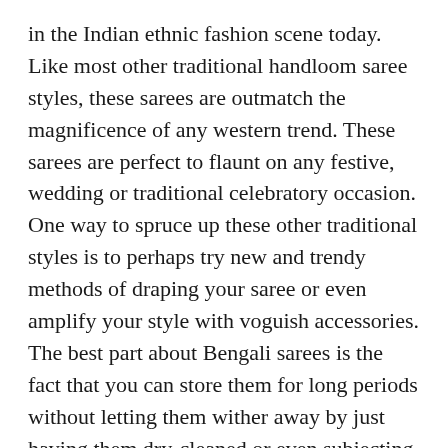in the Indian ethnic fashion scene today. Like most other traditional handloom saree styles, these sarees are outmatch the magnificence of any western trend. These sarees are perfect to flaunt on any festive, wedding or traditional celebratory occasion. One way to spruce up these other traditional styles is to perhaps try new and trendy methods of draping your saree or even amplify your style with voguish accessories. The best part about Bengali sarees is the fact that you can store them for long periods without letting them wither away by just having them dry-cleaned or even subjecting them to fabric treatments. All one has to do to make the sarees suitable for wearing them again after long periods of storage is to rise the fabric delicately in cold water.
These sarees have quite a strong fan following among Bollywood celebrities. They are also a favorite of youngsters. A lot of celebrities such as Priyanka Chopra